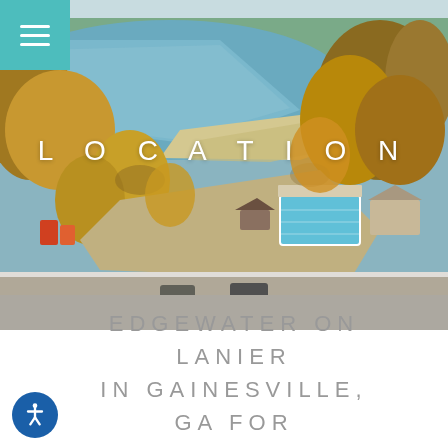[Figure (photo): Aerial drone photograph of Edgewater on Lanier community showing lake, sandy beach, trees in fall colors, swimming pool, playground, and parking area]
LOCATION
EDGEWATER ON LANIER IN GAINESVILLE, GA FOR RENT